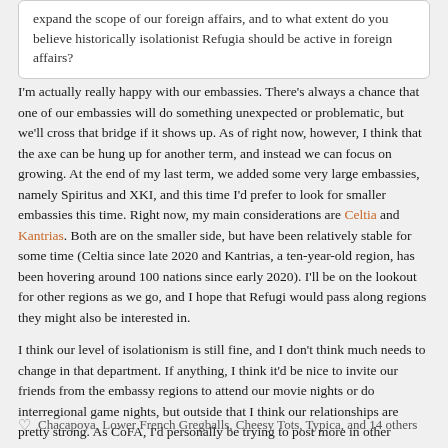expand the scope of our foreign affairs, and to what extent do you believe historically isolationist Refugia should be active in foreign affairs?
I'm actually really happy with our embassies. There's always a chance that one of our embassies will do something unexpected or problematic, but we'll cross that bridge if it shows up. As of right now, however, I think that the axe can be hung up for another term, and instead we can focus on growing. At the end of my last term, we added some very large embassies, namely Spiritus and XKI, and this time I'd prefer to look for smaller embassies this time. Right now, my main considerations are Celtia and Kantrias. Both are on the smaller side, but have been relatively stable for some time (Celtia since late 2020 and Kantrias, a ten-year-old region, has been hovering around 100 nations since early 2020). I'll be on the lookout for other regions as we go, and I hope that Refugi would pass along regions they might also be interested in.
I think our level of isolationism is still fine, and I don't think much needs to change in that department. If anything, I think it'd be nice to invite our friends from the embassy regions to attend our movie nights or do interregional game nights, but outside that I think our relationships are pretty strong. As CoFA, I'd personally be trying to post more in other RMBs, and encouraging them do the same with ours. XKI invited us to a couple events last year, and I think we'll be considered for more this year, especially if we team up with Spiritus and friends on N-Day. That said, I don't think we have to project outside our embassies.
♡ Chacapoya, Lower French Gregballs, Cheesy Tots, Typica, and 14 others